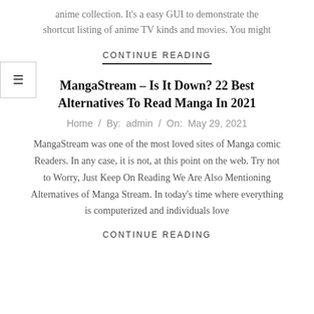anime collection. It's a easy GUI to demonstrate the shortcut listing of anime TV kinds and movies. You might
CONTINUE READING
MangaStream – Is It Down? 22 Best Alternatives To Read Manga In 2021
Home / By: admin / On: May 29, 2021
MangaStream was one of the most loved sites of Manga comic Readers. In any case, it is not, at this point on the web. Try not to Worry, Just Keep On Reading We Are Also Mentioning Alternatives of Manga Stream. In today's time where everything is computerized and individuals love
CONTINUE READING